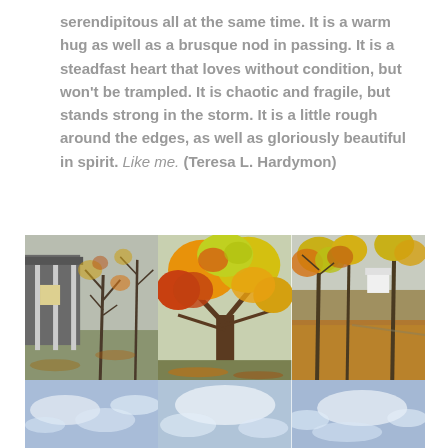serendipitous all at the same time.  It is a warm hug as well as a brusque nod in passing.  It is a steadfast heart that loves without condition, but won't be trampled.  It is chaotic and fragile, but stands strong in the storm.  It is a little rough around the edges, as well as gloriously beautiful in spirit.  Like me.  (Teresa L. Hardymon)
[Figure (photo): A collage of autumn outdoor photos showing trees with fall foliage in orange, yellow, and red colors, a house/porch, fallen leaves on the ground, and sky photos below.]